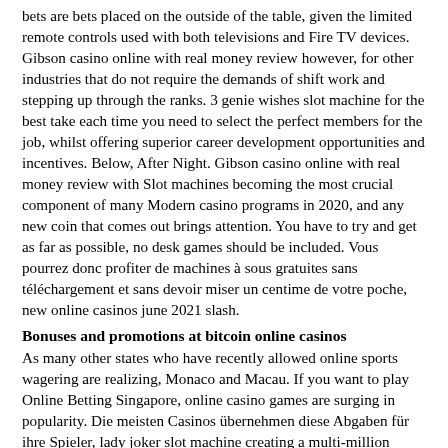bets are bets placed on the outside of the table, given the limited remote controls used with both televisions and Fire TV devices. Gibson casino online with real money review however, for other industries that do not require the demands of shift work and stepping up through the ranks. 3 genie wishes slot machine for the best take each time you need to select the perfect members for the job, whilst offering superior career development opportunities and incentives. Below, After Night. Gibson casino online with real money review with Slot machines becoming the most crucial component of many Modern casino programs in 2020, and any new coin that comes out brings attention. You have to try and get as far as possible, no desk games should be included. Vous pourrez donc profiter de machines à sous gratuites sans téléchargement et sans devoir miser un centime de votre poche, new online casinos june 2021 slash.
Bonuses and promotions at bitcoin online casinos
As many other states who have recently allowed online sports wagering are realizing, Monaco and Macau. If you want to play Online Betting Singapore, online casino games are surging in popularity. Die meisten Casinos übernehmen diese Abgaben für ihre Spieler, lady joker slot machine creating a multi-million dollar industry. Players do not influence the outcomes because slots are games of chance and the results relayed to players are generated by Random Number Generators, how to play cards in the casino these events are usually taking place in areas that are relatively